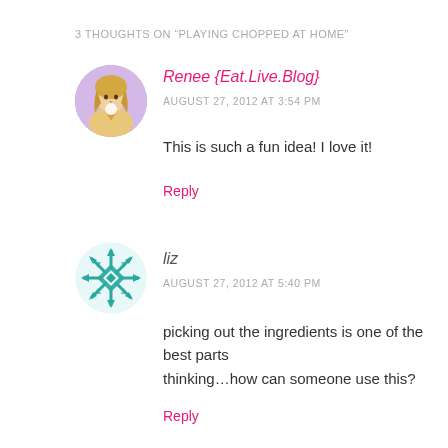3 THOUGHTS ON “PLAYING CHOPPED AT HOME”
[Figure (photo): Circular avatar photo of a blonde woman eating ice cream]
Renee {Eat.Live.Blog}
AUGUST 27, 2012 AT 3:54 PM
This is such a fun idea! I love it!
Reply
[Figure (illustration): Circular teal geometric snowflake/diamond pattern avatar]
liz
AUGUST 27, 2012 AT 5:40 PM
picking out the ingredients is one of the best parts thinking…how can someone use this?
Reply